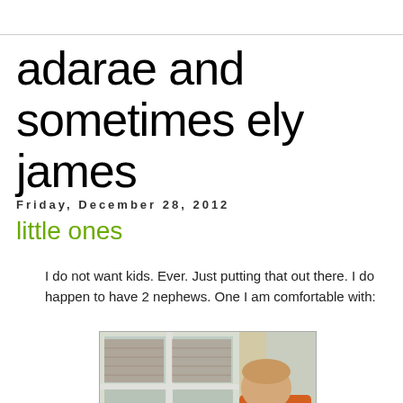adarae and sometimes ely james
Friday, December 28, 2012
little ones
I do not want kids. Ever. Just putting that out there. I do happen to have 2 nephews. One I am comfortable with:
[Figure (photo): A young boy seen from behind, wearing an orange shirt, playing with toy trucks on a window sill. The window looks out onto a building exterior. A curtain is visible on the right.]